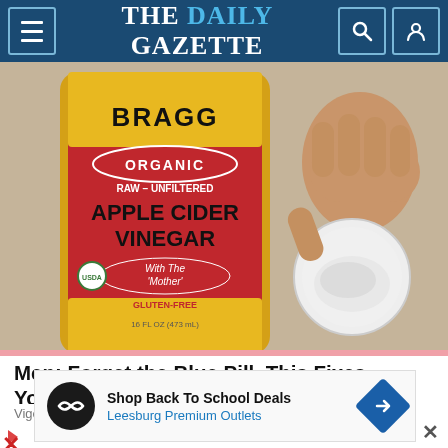THE DAILY GAZETTE
[Figure (photo): Bragg Organic Raw Unfiltered Apple Cider Vinegar bottle with a hand holding a white cap containing a white powder substance]
Men: Forget the Blue Pill, This Fixes Your ED Like Crazy! (Do This)
VigorNow
[Figure (infographic): Advertisement banner for Leesburg Premium Outlets showing Shop Back To School Deals with a circular logo and navigation arrow icon]
Shop Back To School Deals
Leesburg Premium Outlets